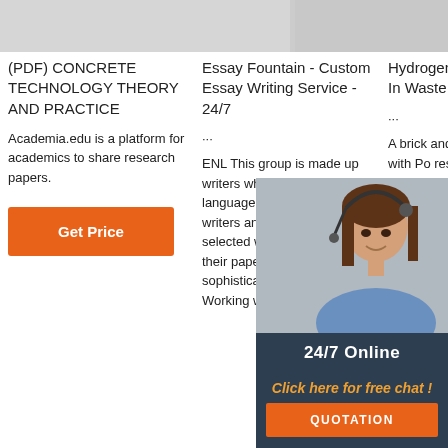[Figure (photo): Top image strip showing partial images]
(PDF) CONCRETE TECHNOLOGY THEORY AND PRACTICE
Academia.edu is a platform for academics to share research papers.
Get Price
Essay Fountain - Custom Essay Writing Service - 24/7
... ENL This group is made up writers whom English is a first language. This are our top writers and thus they are often selected when a client needs their paper to be written in a sophisticated language. Working with us is
Hydrogen Sulfide Corrosion In Waste Colle
... A brick and a corrode manho with Po resin w inspec Warm Springs area of Boise. The surface of the brick manhole had a pH of 5, and the coated concrete
[Figure (photo): Chat agent - woman with headset smiling, 24/7 Online chat popup with orange QUOTATION button]